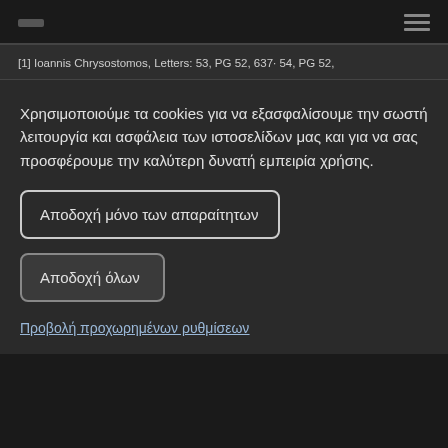— ☰
[1] Ioannis Chrysostomos, Letters: 53, PG 52, 637· 54, PG 52,
Χρησιμοποιούμε τα cookies για να εξασφαλίσουμε την σωστή λειτουργία και ασφάλεια των ιστοσελίδων μας και για να σας προσφέρουμε την καλύτερη δυνατή εμπειρία χρήσης.
Αποδοχή μόνο των απαραίτητων
Αποδοχή όλων
Προβολή προχωρημένων ρυθμίσεων